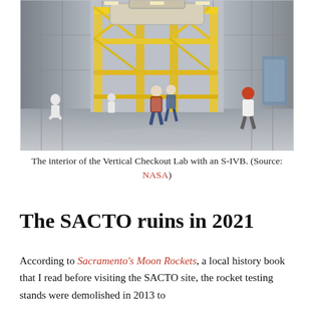[Figure (photo): Interior of the Vertical Checkout Lab showing a large industrial space with yellow scaffolding and a rocket stage (S-IVB) suspended overhead; workers in white coveralls and hard hats stand on the concrete floor.]
The interior of the Vertical Checkout Lab with an S-IVB. (Source: NASA)
The SACTO ruins in 2021
According to Sacramento's Moon Rockets, a local history book that I read before visiting the SACTO site, the rocket testing stands were demolished in 2013 to